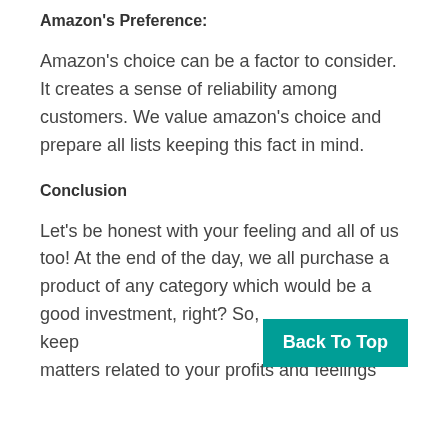Amazon's Preference:
Amazon's choice can be a factor to consider. It creates a sense of reliability among customers. We value amazon's choice and prepare all lists keeping this fact in mind.
Conclusion
Let's be honest with your feeling and all of us too! At the end of the day, we all purchase a product of any category which would be a good investment, right? So, keep matters related to your profits and feelings